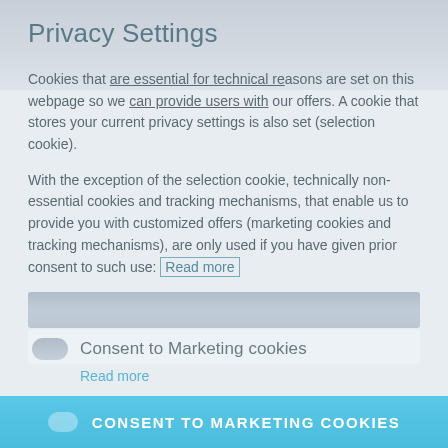Privacy Settings
Cookies that are essential for technical reasons are set on this webpage so we can provide users with our offers. A cookie that stores your current privacy settings is also set (selection cookie).
With the exception of the selection cookie, technically non-essential cookies and tracking mechanisms, that enable us to provide you with customized offers (marketing cookies and tracking mechanisms), are only used if you have given prior consent to such use: Read more
Consent to Marketing cookies
Read more
When clicking "Save" only the cookies you selected will be used. Under your privacy settings, you can withdraw at any time the consent that you granted here with immediate effect.
CONSENT TO MARKETING COOKIES